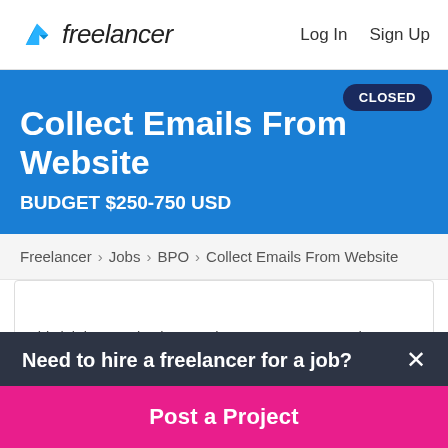Freelancer  Log In  Sign Up
Collect Emails From Website
BUDGET $250-750 USD
CLOSED
Freelancer › Jobs › BPO › Collect Emails From Website
This job is very simple. Must have your own PC and a
Need to hire a freelancer for a job?
Post a Project